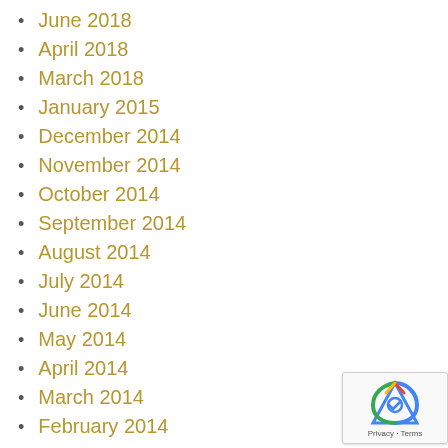June 2018
April 2018
March 2018
January 2015
December 2014
November 2014
October 2014
September 2014
August 2014
July 2014
June 2014
May 2014
April 2014
March 2014
February 2014
January 2014
December 2013
November 2013
October 2013